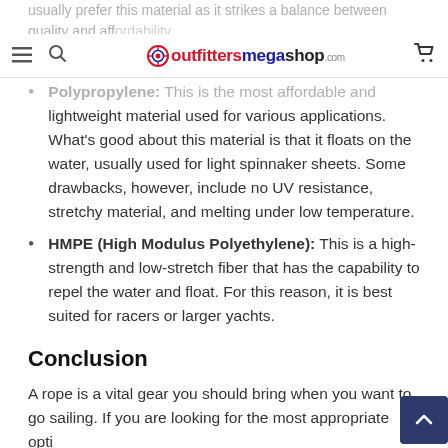usually prefer this material as it strikes a balance between quality and affordability.
outfittersmegashop.com
Polypropylene: This is the most affordable and lightweight material used for various applications. What's good about this material is that it floats on the water, usually used for light spinnaker sheets. Some drawbacks, however, include no UV resistance, stretchy material, and melting under low temperature.
HMPE (High Modulus Polyethylene): This is a high-strength and low-stretch fiber that has the capability to repel the water and float. For this reason, it is best suited for racers or larger yachts.
Conclusion
A rope is a vital gear you should bring when you want to go sailing. If you are looking for the most appropriate option, consider the two factors outlined above—knotting types and